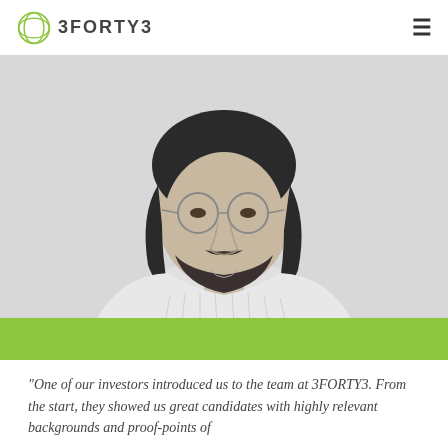3FORTY3
[Figure (photo): Black and white portrait photograph of a young man with shoulder-length dark hair, round glasses, and a beard, wearing a cable-knit sweater. Photo spans most of the upper portion of the page.]
“One of our investors introduced us to the team at 3FORTY3. From the start, they showed us great candidates with highly relevant backgrounds and proof-points of